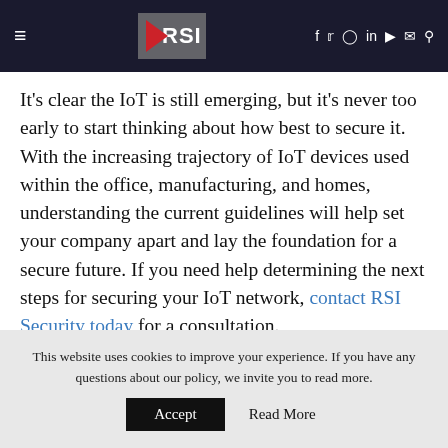RSI Security — navigation header with hamburger menu, RSI logo, and social/search icons
It's clear the IoT is still emerging, but it's never too early to start thinking about how best to secure it. With the increasing trajectory of IoT devices used within the office, manufacturing, and homes, understanding the current guidelines will help set your company apart and lay the foundation for a secure future. If you need help determining the next steps for securing your IoT network, contact RSI Security today for a consultation.
This website uses cookies to improve your experience. If you have any questions about our policy, we invite you to read more.